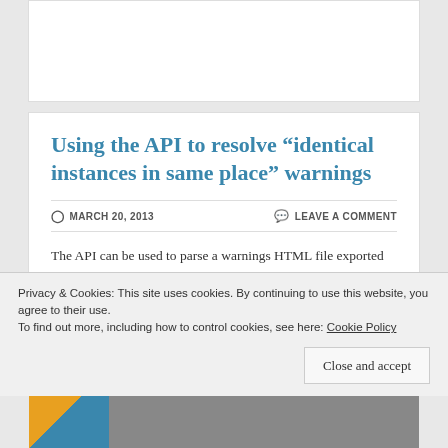Using the API to resolve “identical instances in same place” warnings
MARCH 20, 2013   LEAVE A COMMENT
The API can be used to parse a warnings HTML file exported from Revit and then delete the “less desirable” instance in each pair of instances in the same place.
The instance that gets deleted is the one
Privacy & Cookies: This site uses cookies. By continuing to use this website, you agree to their use.
To find out more, including how to control cookies, see here: Cookie Policy
Close and accept